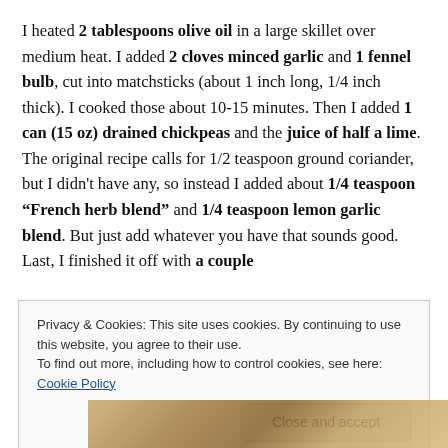I heated 2 tablespoons olive oil in a large skillet over medium heat. I added 2 cloves minced garlic and 1 fennel bulb, cut into matchsticks (about 1 inch long, 1/4 inch thick). I cooked those about 10-15 minutes. Then I added 1 can (15 oz) drained chickpeas and the juice of half a lime. The original recipe calls for 1/2 teaspoon ground coriander, but I didn't have any, so instead I added about 1/4 teaspoon “French herb blend” and 1/4 teaspoon lemon garlic blend. But just add whatever you have that sounds good. Last, I finished it off with a couple
Privacy & Cookies: This site uses cookies. By continuing to use this website, you agree to their use.
To find out more, including how to control cookies, see here: Cookie Policy
[Figure (photo): Partial view of a food photo showing chickpeas or similar legumes, visible at the bottom of the page.]